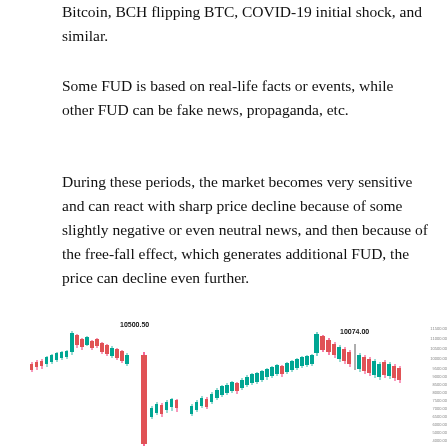Bitcoin, BCH flipping BTC, COVID-19 initial shock, and similar.
Some FUD is based on real-life facts or events, while other FUD can be fake news, propaganda, etc.
During these periods, the market becomes very sensitive and can react with sharp price decline because of some slightly negative or even neutral news, and then because of the free-fall effect, which generates additional FUD, the price can decline even further.
[Figure (continuous-plot): Candlestick chart showing Bitcoin price movements. Labeled peak at 10500.50 on the left side and 10074.00 on the right side. Chart shows a sharp price drop in the middle followed by a recovery. Green (teal) candles for up moves and red candles for down moves. Y-axis shows price levels on the right side ranging from approximately 4000 to 11000+.]